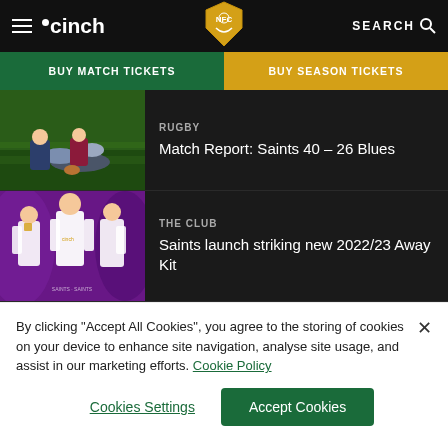cinch | Northampton Saints | SEARCH
BUY MATCH TICKETS | BUY SEASON TICKETS
[Figure (screenshot): Rugby player scoring a try on green grass pitch]
RUGBY
Match Report: Saints 40 – 26 Blues
[Figure (photo): Three Saints rugby players in purple away kit on purple background]
THE CLUB
Saints launch striking new 2022/23 Away Kit
By clicking "Accept All Cookies", you agree to the storing of cookies on your device to enhance site navigation, analyse site usage, and assist in our marketing efforts. Cookie Policy
Cookies Settings | Accept Cookies